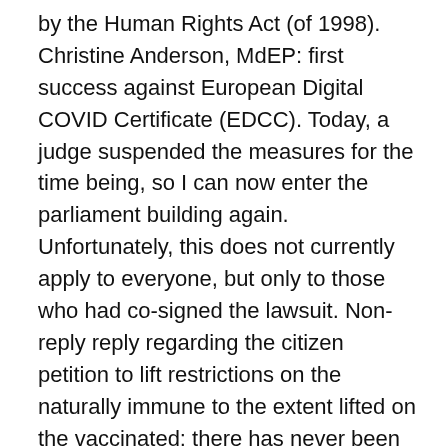by the Human Rights Act (of 1998). Christine Anderson, MdEP: first success against European Digital COVID Certificate (EDCC). Today, a judge suspended the measures for the time being, so I can now enter the parliament building again. Unfortunately, this does not currently apply to everyone, but only to those who had co-signed the lawsuit. Non-reply reply regarding the citizen petition to lift restrictions on the naturally immune to the extent lifted on the vaccinated: there has never been a single documented case of reinfection resulting in further transmission. BMJ investigation: researcher blows the whistle on data integrity issues in Pfizer's vaccine trial. Pfizer CEO calls people spreading vaccine 'misinformation' criminals. Dr Shane Huntington OAM: Sitting in the @RCHMelbourne with my son hooked up to heart monitors post his second Pfizer shot, I have a